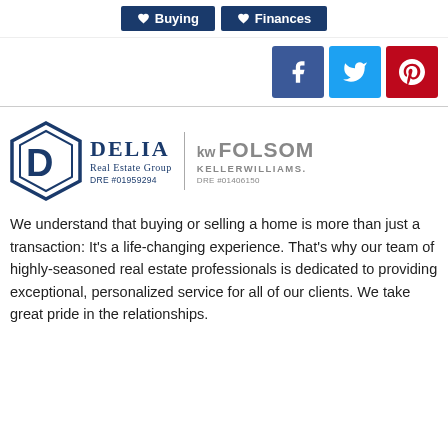[Figure (screenshot): Navigation buttons for Buying and Finances with dark blue background and white text and heart icons]
[Figure (infographic): Social media icons: Facebook (blue), Twitter (light blue), Pinterest (red)]
[Figure (logo): Delia Real Estate Group logo with hexagon D icon, DRE #01959294, paired with kw Folsom Keller Williams DRE #01406150]
We understand that buying or selling a home is more than just a transaction: It's a life-changing experience. That's why our team of highly-seasoned real estate professionals is dedicated to providing exceptional, personalized service for all of our clients. We take great pride in the relationships.